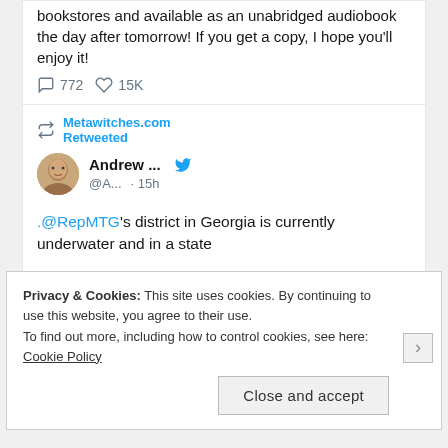FAIRY TALE is in bookstores and available as an unabridged audiobook the day after tomorrow! If you get a copy, I hope you'll enjoy it!
772 comments · 15K likes
Metawitches.com Retweeted
Andrew ... @A... · 15h
.@RepMTG's district in Georgia is currently underwater and in a state
Privacy & Cookies: This site uses cookies. By continuing to use this website, you agree to their use. To find out more, including how to control cookies, see here: Cookie Policy
Close and accept